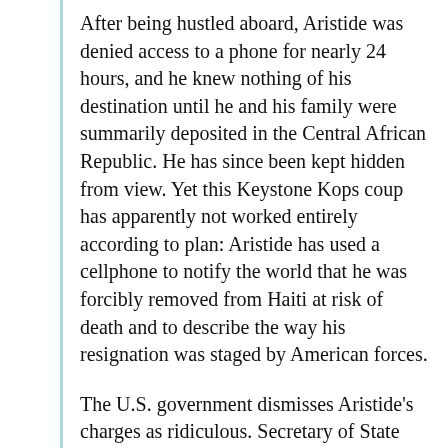After being hustled aboard, Aristide was denied access to a phone for nearly 24 hours, and he knew nothing of his destination until he and his family were summarily deposited in the Central African Republic. He has since been kept hidden from view. Yet this Keystone Kops coup has apparently not worked entirely according to plan: Aristide has used a cellphone to notify the world that he was forcibly removed from Haiti at risk of death and to describe the way his resignation was staged by American forces.
The U.S. government dismisses Aristide's charges as ridiculous. Secretary of State Colin L. Powell has offered an official version of the events, a blanket denial based on the government's word alone. In essence, Washington is telling us not to look back, only forward. The U.S. government's stonewalling brings to mind Groucho Marx's old line, "Who are